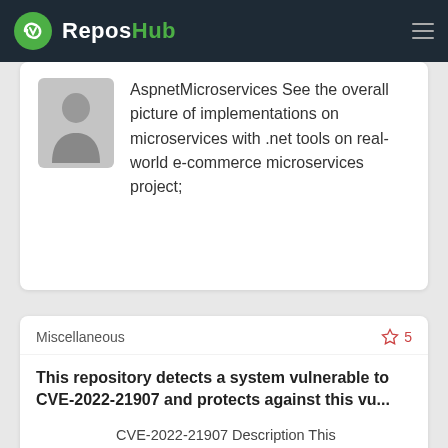ReposHub
AspnetMicroservices See the overall picture of implementations on microservices with .net tools on real-world e-commerce microservices project;
Miscellaneous
This repository detects a system vulnerable to CVE-2022-21907 and protects against this vu...
CVE-2022-21907 Description This repository detects a system vulnerable to CVE-2022-21907 (CVSS:3.1 9.8) and protects against this vulnerability if des